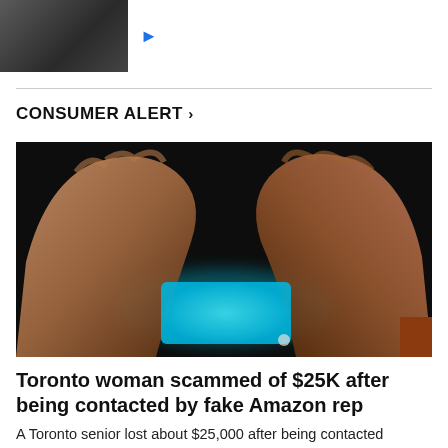[Figure (photo): Thumbnail image of a person, partially visible, dark background, with a blue play button triangle to the right]
CONSUMER ALERT >
[Figure (photo): Close-up photo of a person's hands holding a smartphone with a glowing blue screen, shot against a dark background]
Toronto woman scammed of $25K after being contacted by fake Amazon rep
A Toronto senior lost about $25,000 after being contacted